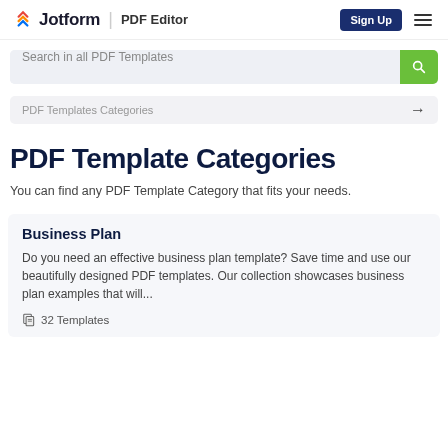Jotform | PDF Editor  Sign Up
Search in all PDF Templates
PDF Templates Categories →
PDF Template Categories
You can find any PDF Template Category that fits your needs.
Business Plan
Do you need an effective business plan template? Save time and use our beautifully designed PDF templates. Our collection showcases business plan examples that will...
32 Templates